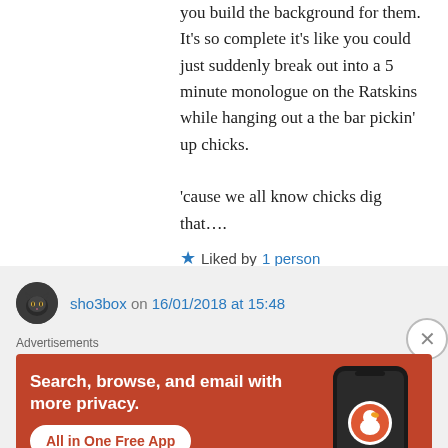you build the background for them. It's so complete it's like you could just suddenly break out into a 5 minute monologue on the Ratskins while hanging out a the bar pickin' up chicks.

'cause we all know chicks dig that….
★ Liked by 1 person
↳ Reply
sho3box on 16/01/2018 at 15:48
Advertisements
[Figure (illustration): DuckDuckGo advertisement banner with orange background, text 'Search, browse, and email with more privacy. All in One Free App' and a phone mockup with DuckDuckGo logo]